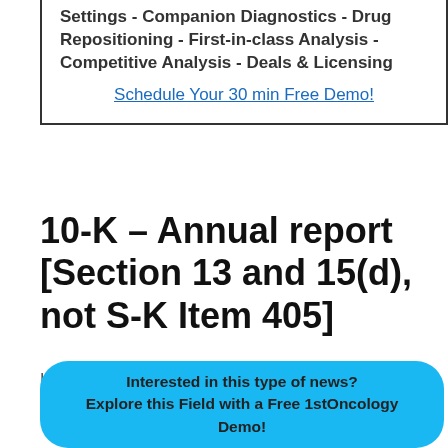Settings - Companion Diagnostics - Drug Repositioning - First-in-class Analysis - Competitive Analysis - Deals & Licensing
Schedule Your 30 min Free Demo!
10-K – Annual report [Section 13 and 15(d), not S-K Item 405]
Lexicon Pharmaceuticals has filed a 10-K – A... K It... 405 with the SEC Business and Earnings
Interested in this type of news? Explore this Field with a Free 1stOncology Demo!